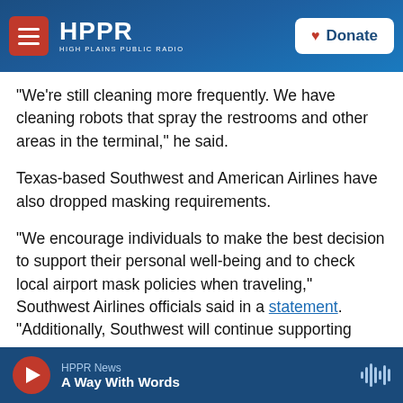HPPR HIGH PLAINS PUBLIC RADIO | Donate
"We're still cleaning more frequently. We have cleaning robots that spray the restrooms and other areas in the terminal," he said.
Texas-based Southwest and American Airlines have also dropped masking requirements.
“We encourage individuals to make the best decision to support their personal well-being and to check local airport mask policies when traveling,” Southwest Airlines officials said in a statement. “Additionally, Southwest will continue supporting
HPPR News | A Way With Words